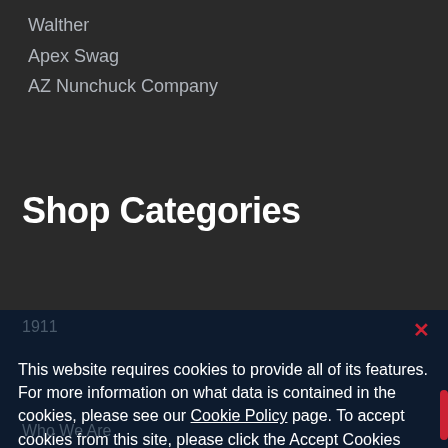Walther
Apex Swag
AZ Nunchuck Company
Shop Categories
1911
This website requires cookies to provide all of its features. For more information on what data is contained in the cookies, please see our Cookie Policy page. To accept cookies from this site, please click the Accept Cookies button below.
Accept Cookies
Decline
Customize Settings
Who We Are